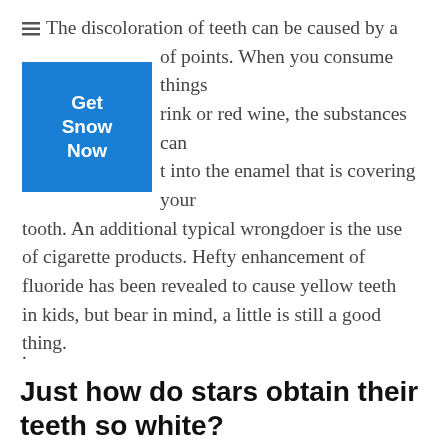The discoloration of teeth can be caused by a number of points. When you consume things like coffee, a drink or red wine, the substances can actually get into the enamel that is covering your tooth. An additional typical wrongdoer is the use of cigarette products. Hefty enhancement of fluoride has been revealed to cause yellow teeth in kids, but bear in mind, a little is still a good thing.
[Figure (other): Blue advertisement box with white bold text reading 'Get Snow Now']
.
Just how do stars obtain their teeth so white?